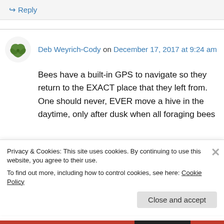↳ Reply
Deb Weyrich-Cody on December 17, 2017 at 9:24 am
Bees have a built-in GPS to navigate so they return to the EXACT place that they left from. One should never, EVER move a hive in the daytime, only after dusk when all foraging bees
Privacy & Cookies: This site uses cookies. By continuing to use this website, you agree to their use.
To find out more, including how to control cookies, see here: Cookie Policy
Close and accept